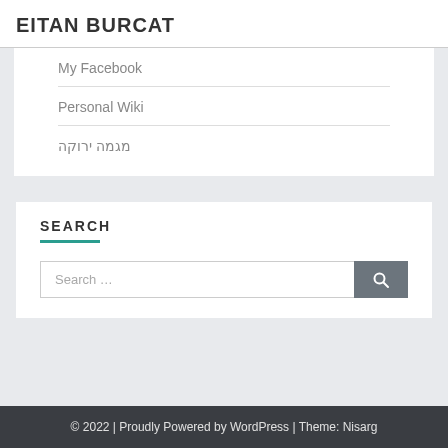EITAN BURCAT
My Facebook
Personal Wiki
מגמה ירוקה
SEARCH
Search …
© 2022 | Proudly Powered by WordPress | Theme: Nisarg